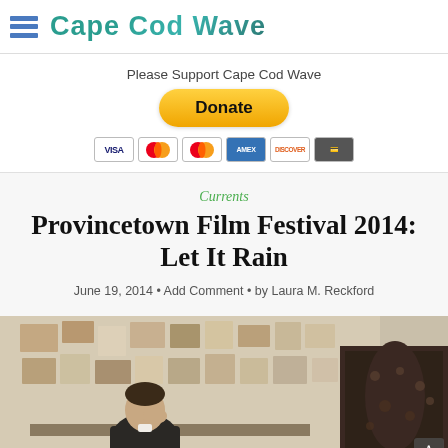Cape Cod Wave
Please Support Cape Cod Wave
[Figure (other): PayPal Donate button with payment icons (Visa, Mastercard, Discover, American Express)]
Currents
Provincetown Film Festival 2014: Let It Rain
June 19, 2014 • Add Comment • by Laura M. Reckford
[Figure (photo): A man sitting at a desk with his hand on his face, surrounded by artwork and photos on the wall behind him. A woman in an ornate dark dress is partially visible in the foreground on the right.]